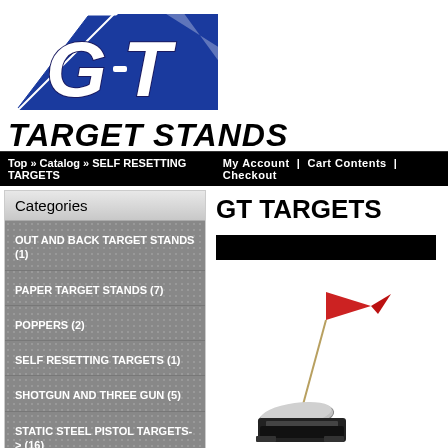[Figure (logo): GT Target Stands logo — blue triangle with bold white GT letters]
TARGET STANDS
Top » Catalog » SELF RESETTING TARGETS    My Account  |  Cart Contents  |  Checkout
Categories
OUT AND BACK TARGET STANDS (1)
PAPER TARGET STANDS (7)
POPPERS (2)
SELF RESETTING TARGETS (1)
SHOTGUN AND THREE GUN (5)
STATIC STEEL PISTOL TARGETS-> (16)
GT TARGETS
[Figure (photo): Product photo of a self-resetting target stand with a red flag on a wire arm, mounted on a black base plate]